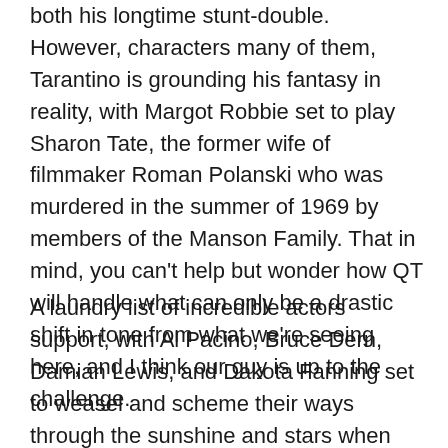both his longtime stunt-double. However, characters many of them, Tarantino is grounding his fantasy in reality, with Margot Robbie set to play Sharon Tate, the former wife of filmmaker Roman Polanski who was murdered in the summer of 1969 by members of the Manson Family. That in mind, you can't help but wonder how QT will handle what can only be a drastic shift in tone from what we're seeing here, and I think our guy is up to the challenge.
A laundry list of incredible actors support, with Al Pacino, Bruce Dern, Damian Lewis, and Dakota Fanning set to weasel and scheme their ways through the sunshine and stars when Once Upon a Time in Hollywood hits theaters July 27th.